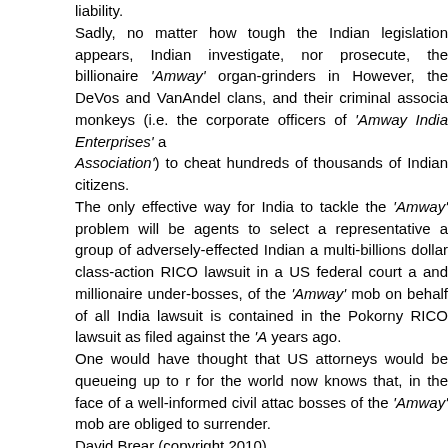liability.
Sadly, no matter how tough the Indian legislation appears, Indian authorities will not investigate, nor prosecute, the billionaire 'Amway' organ-grinders in However, the DeVos and VanAndel clans, and their criminal associa monkeys (i.e. the corporate officers of 'Amway India Enterprises' a Association') to cheat hundreds of thousands of Indian citizens.
The only effective way for India to tackle the 'Amway' problem will be agents to select a representative a group of adversely-effected Indian a multi-billions dollar class-action RICO lawsuit in a US federal court a and millionaire under-bosses, of the 'Amway' mob on behalf of all India lawsuit is contained in the Pokorny RICO lawsuit as filed against the 'A years ago.
One would have thought that US attorneys would be queueing up to r for the world now knows that, in the face of a well-informed civil attac bosses of the 'Amway' mob are obliged to surrender.
David Brear (copyright 2010)
Posted by Shyam Sundar at 18:59  No comments:
It's an open and shut criminal case against
India has enacted a very good legislation long back in 1978 to bring th book. The enactment is Prize Chits & Money Circulation Schemes (Ba